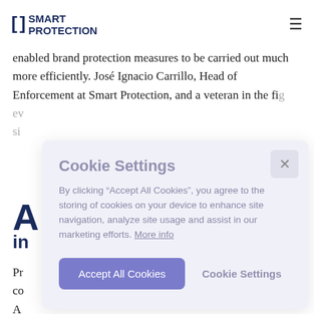[ ] SMART PROTECTION
platforms. Zero provides brands with the ability to remove products in a self-service style without the need for intermediaries. This change has enabled brand protection measures to be carried out much more efficiently. José Ignacio Carrillo, Head of Enforcement at Smart Protection, and a veteran in the fig... ev... si...
A i
Pr... co... A... helpdesk to identify and eliminate suspicious posts. This
Cookie Settings

By clicking “Accept All Cookies”, you agree to the storing of cookies on your device to enhance site navigation, analyze site usage and assist in our marketing efforts. More info

[Accept All Cookies] [Cookie Settings]